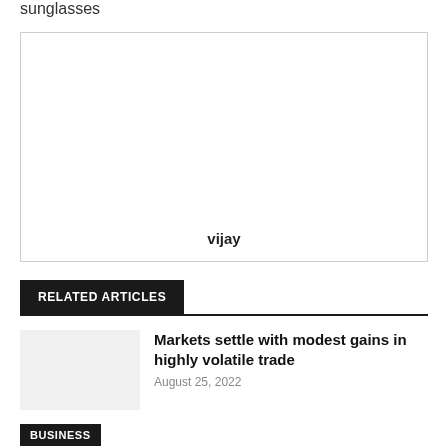sunglasses
[Figure (photo): Empty image placeholder box with the caption 'vijay' at the bottom center]
RELATED ARTICLES
Markets settle with modest gains in highly volatile trade
August 25, 2022
BUSINESS